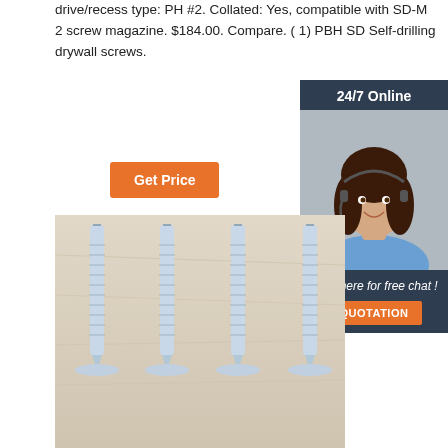drive/recess type: PH #2. Collated: Yes, compatible with SD-M 2 screw magazine. $184.00. Compare. ( 1) PBH SD Self-drilling drywall screws.
[Figure (other): Orange 'Get Price' button]
[Figure (other): Sidebar with '24/7 Online' header, photo of customer support agent with headset, 'Click here for free chat!' text, and orange QUOTATION button]
[Figure (photo): Photo of four self-drilling drywall screws standing upright on a light wooden surface]